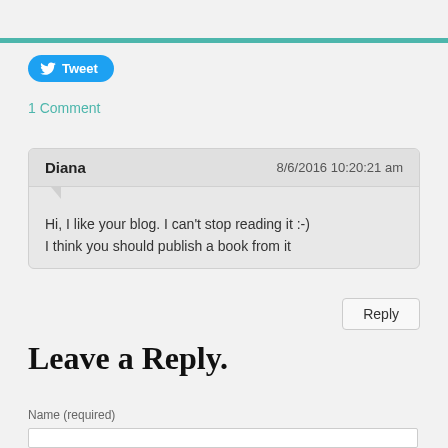[Figure (other): Twitter Tweet button, blue rounded pill with bird icon]
1 Comment
Diana   8/6/2016 10:20:21 am
Hi, I like your blog. I can't stop reading it :-)
I think you should publish a book from it
Reply
Leave a Reply.
Name (required)